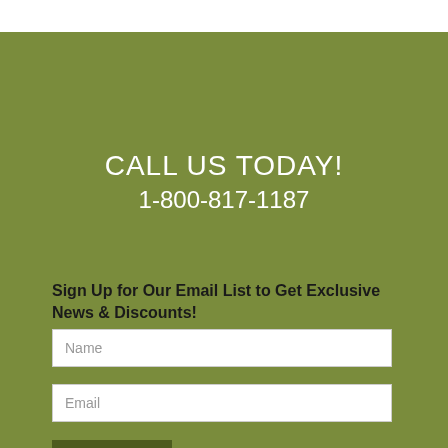CALL US TODAY!
1-800-817-1187
Sign Up for Our Email List to Get Exclusive News & Discounts!
Name
Email
SUBMIT